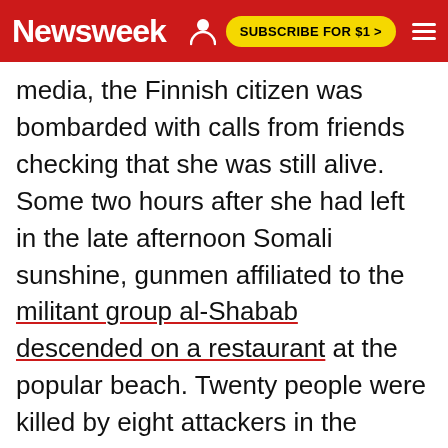Newsweek | SUBSCRIBE FOR $1 >
media, the Finnish citizen was bombarded with calls from friends checking that she was still alive. Some two hours after she had left in the late afternoon Somali sunshine, gunmen affiliated to the militant group al-Shabab descended on a restaurant at the popular beach. Twenty people were killed by eight attackers in the deadly encounter.
Dayib, who announced in 2014 that she intends to run for the Somali presidency if popular elections scheduled for 2016 go ahead, is one of the attributes of the attack...